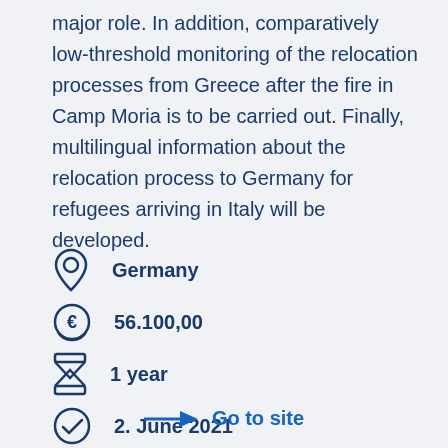major role. In addition, comparatively low-threshold monitoring of the relocation processes from Greece after the fire in Camp Moria is to be carried out. Finally, multilingual information about the relocation process to Germany for refugees arriving in Italy will be developed.
Germany
56.100,00
1 year
2. June 2021
Go to site